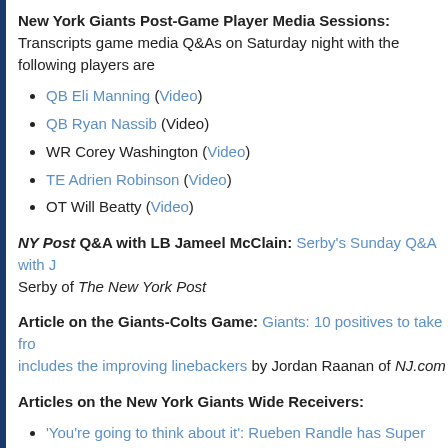New York Giants Post-Game Player Media Sessions: Transcripts game media Q&As on Saturday night with the following players are
QB Eli Manning (Video)
QB Ryan Nassib (Video)
WR Corey Washington (Video)
TE Adrien Robinson (Video)
OT Will Beatty (Video)
NY Post Q&A with LB Jameel McClain: Serby's Sunday Q&A with J Serby of The New York Post
Article on the Giants-Colts Game: Giants: 10 positives to take from includes the improving linebackers by Jordan Raanan of NJ.com
Articles on the New York Giants Wide Receivers:
'You're going to think about it': Rueben Randle has Super dre New York Post
Unheralded WR catching TD after TD for Giants — against al